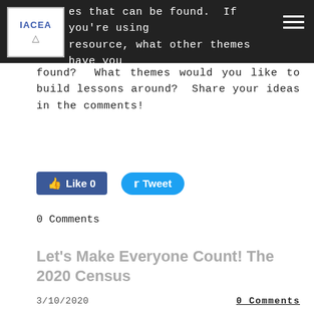es that can be found. If you're using resource, what other themes have you
found? What themes would you like to build lessons around? Share your ideas in the comments!
[Figure (other): Facebook Like button (Like 0) and Twitter Tweet button]
0 Comments
Let's Make Everyone Count! The 2020 Census
3/10/2020   0 Comments
Marcia Luptak, Elgin Community College
Census Resources (Click "Read More"